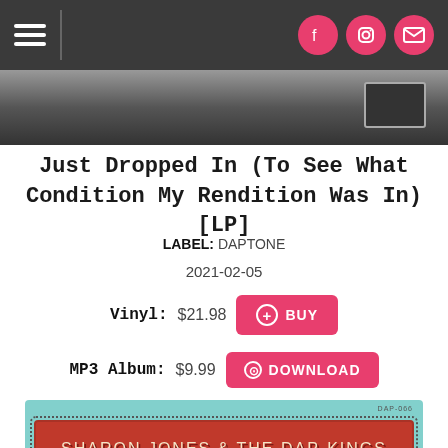Navigation bar with hamburger menu and social icons (Facebook, Instagram, Email)
[Figure (photo): Partial photo strip showing a dimly lit scene, likely a recording or performance setting]
Just Dropped In (To See What Condition My Rendition Was In) [LP]
LABEL: DAPTONE
2021-02-05
Vinyl: $21.98  [BUY button]
MP3 Album: $9.99  [DOWNLOAD button]
[Figure (photo): Album art for Sharon Jones & The Dap-Kings 'Just Dropped In to See What Condition' LP (DAP-066), showing red banner with artist name, dotted border, speech bubble text, and artist portrait]